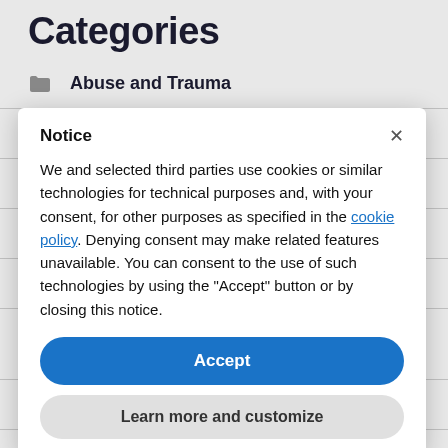Categories
Abuse and Trauma
Body Image
Book Reviews
Diets and Weight Loss
Eating
Emotional Management and Self-Regulation
Exercise and Fitness
Family Relationships, Love and Friendship
Life Skills and Self-Care
Nutrition
Uncategorized
[Figure (screenshot): Cookie consent notice modal with title 'Notice', body text about cookies, Accept button, and Learn more and customize button]